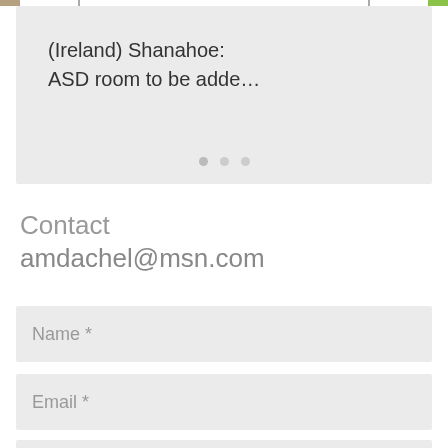[Figure (screenshot): Top navigation bar with thumbnail image, separator bars, and green button]
(Ireland) Shanahoe:
ASD room to be adde…
Contact
amdachel@msn.com
Name *
Email *
Subject